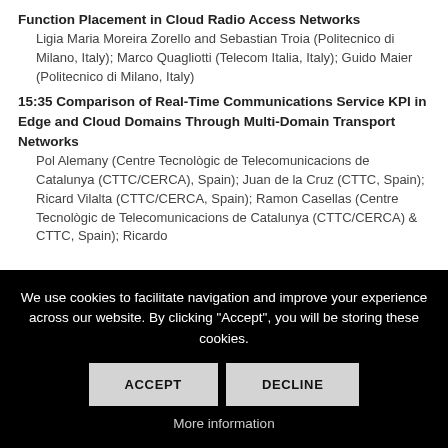Function Placement in Cloud Radio Access Networks
Ligia Maria Moreira Zorello and Sebastian Troia (Politecnico di Milano, Italy); Marco Quagliotti (Telecom Italia, Italy); Guido Maier (Politecnico di Milano, Italy)
15:35 Comparison of Real-Time Communications Service KPI in Edge and Cloud Domains Through Multi-Domain Transport Networks
Pol Alemany (Centre Tecnològic de Telecomunicacions de Catalunya (CTTC/CERCA), Spain); Juan de la Cruz (CTTC, Spain); Ricard Vilalta (CTTC/CERCA, Spain); Ramon Casellas (Centre Tecnològic de Telecomunicacions de Catalunya (CTTC/CERCA) & CTTC, Spain); Ricardo
We use cookies to facilitate navigation and improve your experience across our website. By clicking "Accept", you will be storing these cookies.
ACCEPT
DECLINE
More information